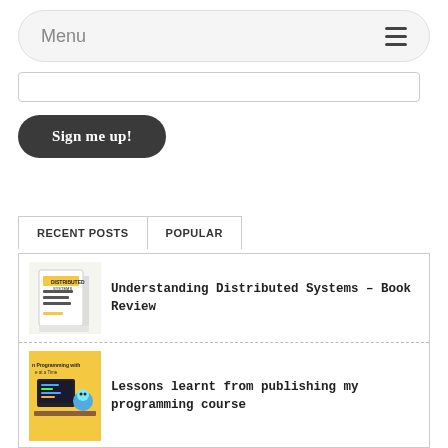Menu
Sign me up!
RECENT POSTS | POPULAR
Understanding Distributed Systems – Book Review
Lessons learnt from publishing my programming course
Learn Programming with Go, One Game at a Time